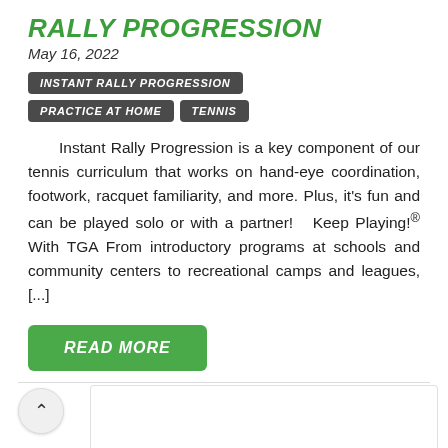RALLY PROGRESSION
May 16, 2022
INSTANT RALLY PROGRESSION
PRACTICE AT HOME
TENNIS
Instant Rally Progression is a key component of our tennis curriculum that works on hand-eye coordination, footwork, racquet familiarity, and more. Plus, it's fun and can be played solo or with a partner!   Keep Playing!® With TGA From introductory programs at schools and community centers to recreational camps and leagues, [...]
READ MORE